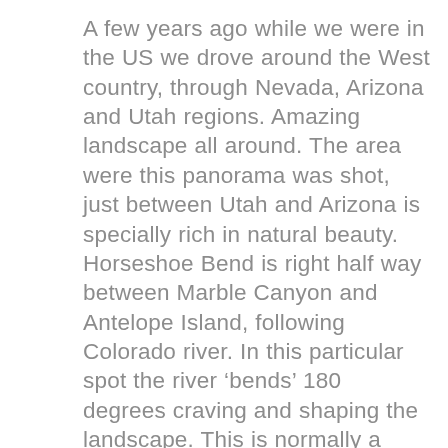A few years ago while we were in the US we drove around the West country, through Nevada, Arizona and Utah regions. Amazing landscape all around. The area were this panorama was shot, just between Utah and Arizona is specially rich in natural beauty. Horseshoe Bend is right half way between Marble Canyon and Antelope Island, following Colorado river. In this particular spot the river ‘bends’ 180 degrees craving and shaping the landscape. This is normally a very popular location but on that day strong winds were blowing and, perhaps for that reason, no one was around. We had to walk about 30 minutes and it was certainly worthwhile. The weather was not perfect and not the best time of the day to shoot, but the view was astonishing. Up there we could understand the magnitude of that place